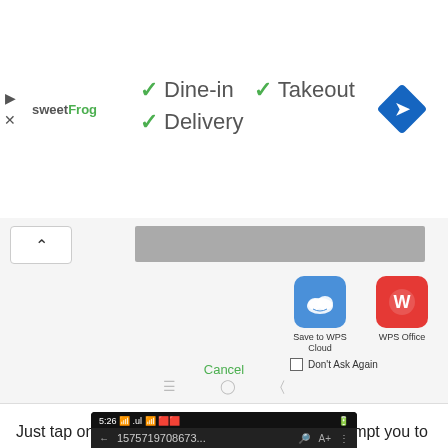[Figure (screenshot): Ad banner for sweetFrog showing Dine-in, Takeout, and Delivery checkmarks with navigation arrow icon]
[Figure (screenshot): Android app share/open dialog showing Save to WPS Cloud, WPS Office, and Drive PDF Viewer app icons with Don't Ask Again checkbox and Cancel button]
Just tap on the open button and the app will prompt you to select PDF reader apps in which you want to open your Aadhaar PDF
[Figure (screenshot): Android phone browser address bar showing 1575719708673...]